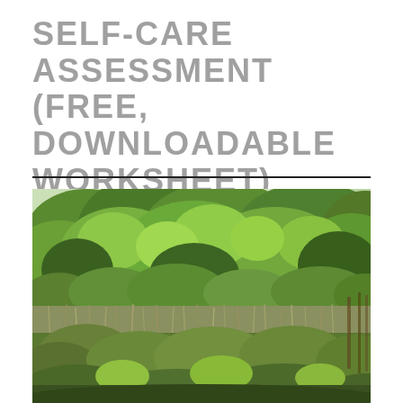SELF-CARE ASSESSMENT (FREE, DOWNLOADABLE WORKSHEET)
[Figure (photo): Outdoor nature scene showing dense green trees and shrubs in the background with wild vegetation, tall dried grass, and large leafy plants in the foreground, taken in summer.]